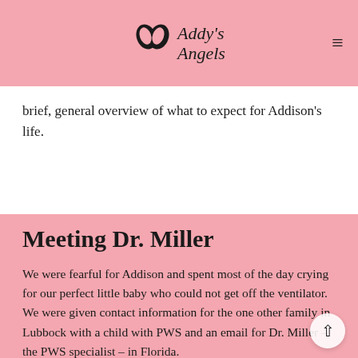Addy's Angels
brief, general overview of what to expect for Addison's life.
Meeting Dr. Miller
We were fearful for Addison and spent most of the day crying for our perfect little baby who could not get off the ventilator. We were given contact information for the one other family in Lubbock with a child with PWS and an email for Dr. Miller – the PWS specialist – in Florida.
We reached out to Dr. Miller., and within 10 minutes she emailed us reassuring everything was going to be all right. She gave us an overload of information: things to tell the doctors, supplements and medications to start her on, and